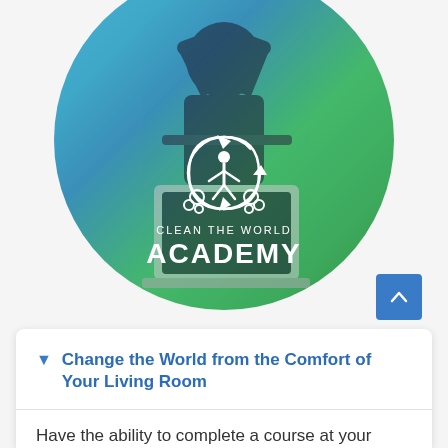[Figure (logo): Clean the World Academy logo inside a circular blue-to-green gradient background with a person silhouette holding a laptop. The logo shows a white icon of a person with recycling arrows and soap bubbles, with text 'CLEAN THE WORLD' above 'ACADEMY'.]
Change the World from the Comfort of Your Living Room
Have the ability to complete a course at your